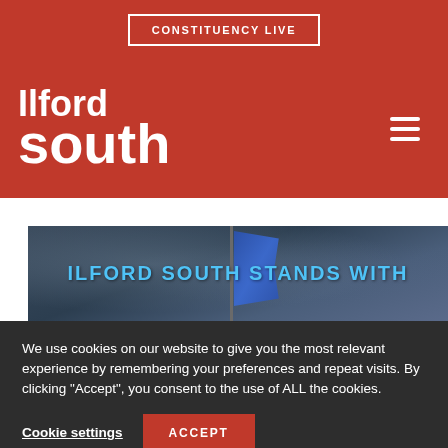CONSTITUENCY LIVE
Ilford South
[Figure (screenshot): Hero banner image showing a blue flag against a cloudy sky with the text 'ILFORD SOUTH STANDS WITH' in cyan/blue bold uppercase letters]
We use cookies on our website to give you the most relevant experience by remembering your preferences and repeat visits. By clicking “Accept”, you consent to the use of ALL the cookies.
Cookie settings
ACCEPT